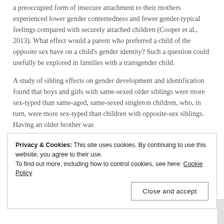a preoccupied form of insecure attachment to their mothers experienced lower gender contentedness and fewer gender-typical feelings compared with securely attached children (Cooper et al., 2013). What effect would a parent who preferred a child of the opposite sex have on a child's gender identity? Such a question could usefully be explored in families with a transgender child.
A study of sibling effects on gender development and identification found that boys and girls with same-sexed older siblings were more sex-typed than same-aged, same-sexed singleton children, who, in turn, were more sex-typed than children with opposite-sex siblings. Having an older brother was
Privacy & Cookies: This site uses cookies. By continuing to use this website, you agree to their use. To find out more, including how to control cookies, see here: Cookie Policy
Close and accept